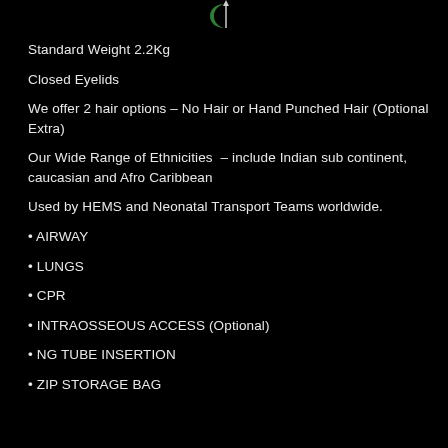[Figure (logo): Green crescent/moon logo icon at top center]
Standard Weight 2.2Kg
Closed Eyelids
We offer 2 hair options – No Hair or Hand Punched Hair (Optional Extra)
Our Wide Range of Ethnicities – include Indian sub continent, caucasian and Afro Caribbean
Used by HEMS and Neonatal Transport Teams worldwide.
• AIRWAY
• LUNGS
• CPR
• INTRAOSSEOUS ACCESS (Optional)
• NG TUBE INSERTION
• ZIP STORAGE BAG